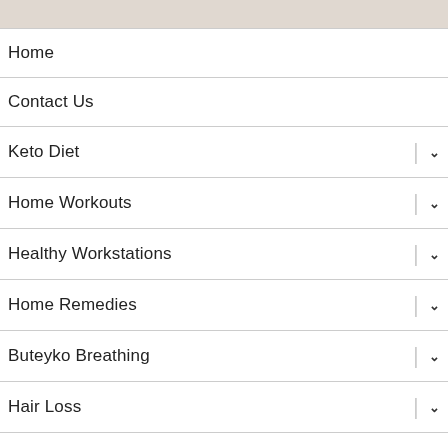[Figure (photo): Partial image strip at top of page showing cropped photo content]
Home
Contact Us
Keto Diet
Home Workouts
Healthy Workstations
Home Remedies
Buteyko Breathing
Hair Loss